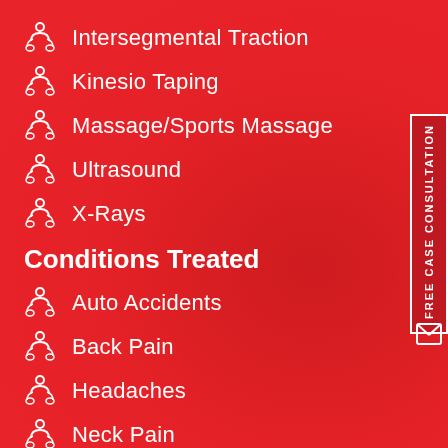Intersegmental Traction
Kinesio Taping
Massage/Sports Massage
Ultrasound
X-Rays
Conditions Treated
Auto Accidents
Back Pain
Headaches
Neck Pain
Performance Care
[Figure (other): Vertical sidebar tab with text FREE CASE CONSULTATION and envelope icon]